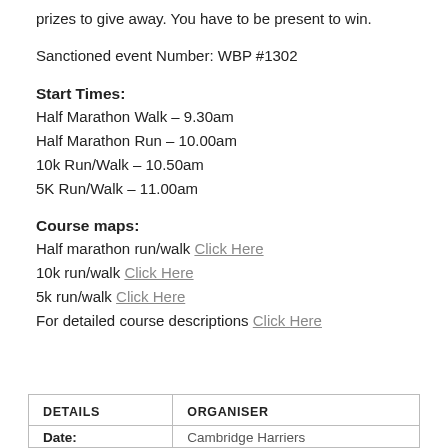prizes to give away. You have to be present to win.
Sanctioned event Number: WBP #1302
Start Times:
Half Marathon Walk – 9.30am
Half Marathon Run – 10.00am
10k Run/Walk – 10.50am
5K Run/Walk – 11.00am
Course maps:
Half marathon run/walk Click Here
10k run/walk Click Here
5k run/walk Click Here
For detailed course descriptions Click Here
| DETAILS | ORGANISER |
| --- | --- |
| Date: | Cambridge Harriers |